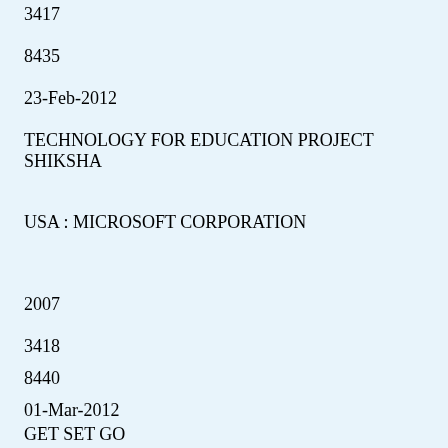3417
8435
23-Feb-2012
TECHNOLOGY FOR EDUCATION PROJECT SHIKSHA
USA : MICROSOFT CORPORATION
2007
3418
8440
01-Mar-2012
GET SET GO